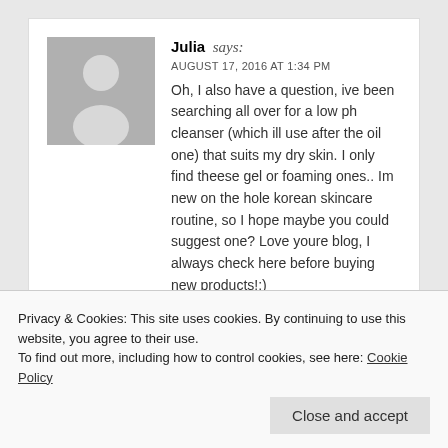[Figure (illustration): Grey avatar placeholder silhouette of a person on grey background]
Julia says:
AUGUST 17, 2016 AT 1:34 PM
Oh, I also have a question, ive been searching all over for a low ph cleanser (which ill use after the oil one) that suits my dry skin. I only find theese gel or foaming ones.. Im new on the hole korean skincare routine, so I hope maybe you could suggest one? Love youre blog, I always check here before buying new products!;)
★ Like
Privacy & Cookies: This site uses cookies. By continuing to use this website, you agree to their use.
To find out more, including how to control cookies, see here: Cookie Policy
Close and accept